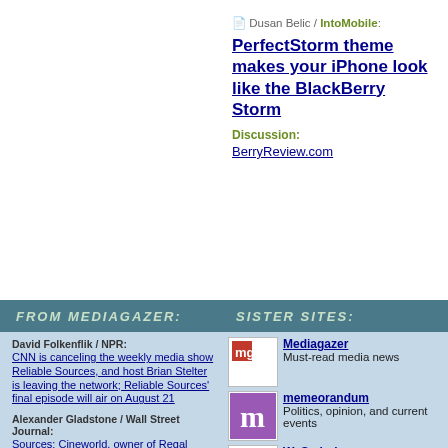Dusan Belic / IntoMobile: PerfectStorm theme makes your iPhone look like the BlackBerry Storm Discussion: BerryReview.com
FROM MEDIAGAZER:
SISTER SITES:
David Folkenflik / NPR: CNN is canceling the weekly media show Reliable Sources, and host Brian Stelter is leaving the network; Reliable Sources' final episode will air on August 21
Alexander Gladstone / Wall Street Journal: Sources: Cineworld, owner of Regal Cinemas, is preparing to file for bankruptcy in the US after struggling to rebuild attendance since the pandemic
Molly Taft / Gizmodo: A look at Chevron-sponsored Permian Proud, a new site in a Texas news desert that offers local
[Figure (logo): Mediagazer logo - red square with white 'mg' text]
Mediagazer Must-read media news
[Figure (logo): memeorandum logo - purple square with white 'm' text]
memeorandum Politics, opinion, and current events
[Figure (logo): WeSmirch logo - white square with cursive 'w' text]
WeSmirch Celebrity news and gossip